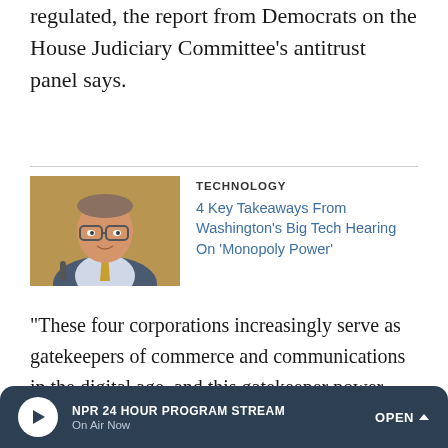regulated, the report from Democrats on the House Judiciary Committee's antitrust panel says.
[Figure (photo): Photo of a man in glasses and a yellow tie speaking at a hearing]
TECHNOLOGY
4 Key Takeaways From Washington's Big Tech Hearing On 'Monopoly Power'
"These four corporations increasingly serve as gatekeepers of commerce and communications in the digital age, and this gatekeeper power gives them enormous capacity to abuse that power," a lawyer for the subcommittee's Democratic majority said in a briefing with reporters.
The lawmakers say Congress should overhaul the laws that
NPR 24 HOUR PROGRAM STREAM On Air Now OPEN ^